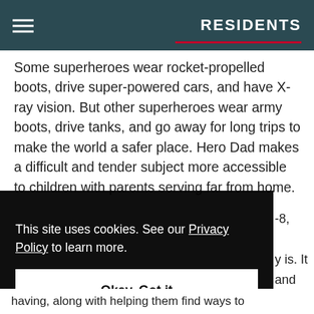RESIDENTS
Some superheroes wear rocket-propelled boots, drive super-powered cars, and have X-ray vision. But other superheroes wear army boots, drive tanks, and go away for long trips to make the world a safer place. Hero Dad makes a difficult and tender subject more accessible to children with parents serving far from home.
This site uses cookies. See our Privacy Policy to learn more.
Okay, Got it
-8,
y is. It and
having, along with helping them find ways to